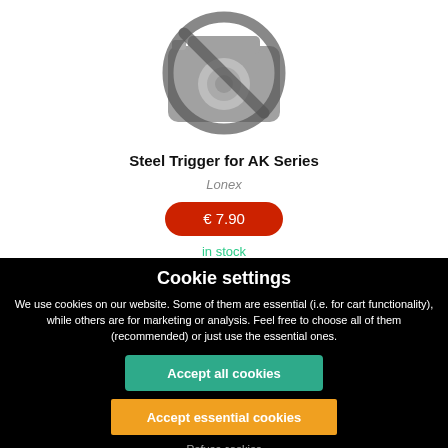[Figure (illustration): No image placeholder icon — a camera with a prohibition circle overlay, grey color]
Steel Trigger for AK Series
Lonex
€ 7.90
in stock
Cookie settings
We use cookies on our website. Some of them are essential (i.e. for cart functionality), while others are for marketing or analysis. Feel free to choose all of them (recommended) or just use the essential ones.
Accept all cookies
Accept essential cookies
Refuse cookies